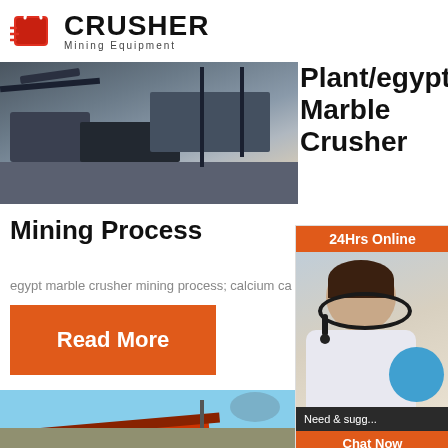[Figure (logo): Crusher Mining Equipment logo with shopping bag icon]
[Figure (photo): Photo of heavy mining crusher equipment machinery]
Plant/Egypt Marble Crusher
Mining Process
egypt marble crusher mining process; calcium ca...
Read More
[Figure (photo): Photo of stone crusher conveyor belt equipment outdoors]
up stone crusher list
[Figure (infographic): 24Hrs Online sidebar with customer service representative photo, Chat Now button, Enquiry button, and limingjlmofen@sina.com email]